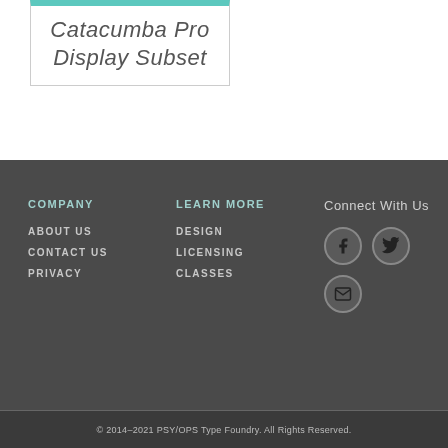[Figure (other): Product card showing 'Catacumba Pro Display Subset' font name in italic, with teal top border]
COMPANY
ABOUT US
CONTACT US
PRIVACY
LEARN MORE
DESIGN
LICENSING
CLASSES
Connect With Us
[Figure (other): Social media icons: Facebook, Twitter, and Email circles]
© 2014–2021 PSY/OPS Type Foundry. All Rights Reserved.